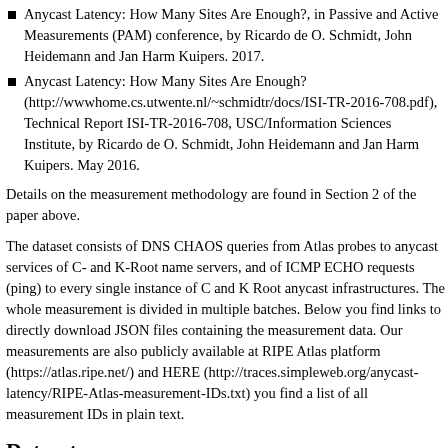Anycast Latency: How Many Sites Are Enough?, in Passive and Active Measurements (PAM) conference, by Ricardo de O. Schmidt, John Heidemann and Jan Harm Kuipers. 2017.
Anycast Latency: How Many Sites Are Enough? (http://wwwhome.cs.utwente.nl/~schmidtr/docs/ISI-TR-2016-708.pdf), Technical Report ISI-TR-2016-708, USC/Information Sciences Institute, by Ricardo de O. Schmidt, John Heidemann and Jan Harm Kuipers. May 2016.
Details on the measurement methodology are found in Section 2 of the paper above.
The dataset consists of DNS CHAOS queries from Atlas probes to anycast services of C- and K-Root name servers, and of ICMP ECHO requests (ping) to every single instance of C and K Root anycast infrastructures. The whole measurement is divided in multiple batches. Below you find links to directly download JSON files containing the measurement data. Our measurements are also publicly available at RIPE Atlas platform (https://atlas.ripe.net/) and HERE (http://traces.simpleweb.org/anycast-latency/RIPE-Atlas-measurement-IDs.txt) you find a list of all measurement IDs in plain text.
Dataset